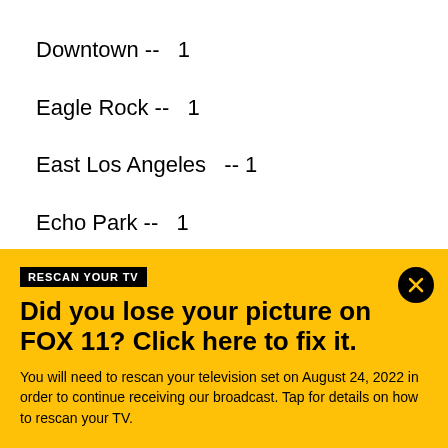Downtown -- 1
Eagle Rock -- 1
East Los Angeles -- 1
Echo Park -- 1
El Segundo -- 1
Encino -- 8
Gardena -- 1
Glendale -- 4
Granada Hills -- 4
Hancock Park -- 2
Hawthorne -- 2
RESCAN YOUR TV
Did you lose your picture on FOX 11? Click here to fix it.
You will need to rescan your television set on August 24, 2022 in order to continue receiving our broadcast. Tap for details on how to rescan your TV.